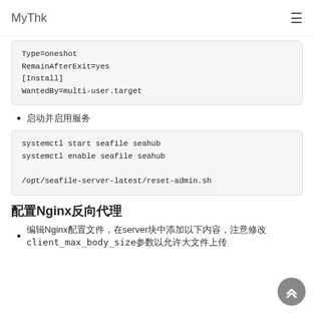MyThk
Type=oneshot
RemainAfterExit=yes
[Install]
WantedBy=multi-user.target
启动并启用服务
systemctl start seafile seahub
systemctl enable seafile seahub

/opt/seafile-server-latest/reset-admin.sh
配置Nginx反向代理
编辑Nginx配置文件，在server块中添加以下内容，注意修改client_max_body_size参数以允许大文件上传